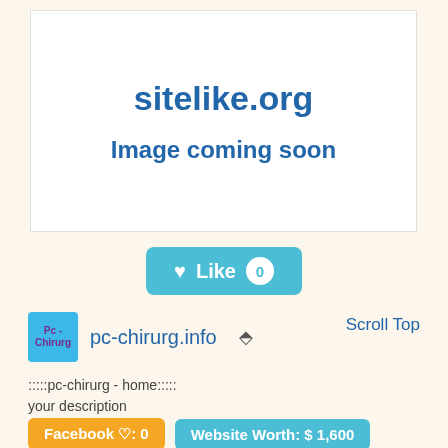[Figure (screenshot): Website screenshot placeholder with sitelike.org branding and 'Image coming soon' text]
Like 0
pc-chirurg.info
Scroll Top
:::::pc-chirurg - home:::::
your description
Facebook ♡: 0
Website Worth: $ 1,600
Categories: Health, Business
Is it similar?